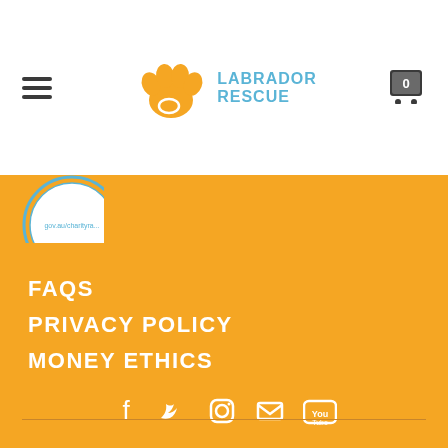Labrador Rescue - navigation header with logo
[Figure (logo): Labrador Rescue logo with orange paw print and text LABRADOR RESCUE in blue]
[Figure (other): Partial charity badge/seal at top left of orange section showing gov.au/charityra...]
FAQS
PRIVACY POLICY
MONEY ETHICS
[Figure (other): Social media icons row: Facebook, Twitter, Instagram, Email, YouTube - all white on orange background]
DONATE